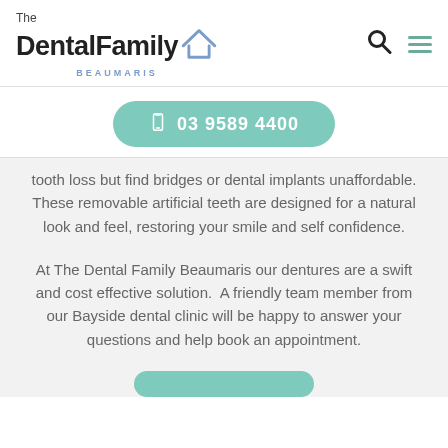[Figure (logo): The Dental Family Beaumaris logo with house icon, search icon, and hamburger menu icon]
03 9589 4400
tooth loss but find bridges or dental implants unaffordable. These removable artificial teeth are designed for a natural look and feel, restoring your smile and self confidence.
At The Dental Family Beaumaris our dentures are a swift and cost effective solution.  A friendly team member from our Bayside dental clinic will be happy to answer your questions and help book an appointment.